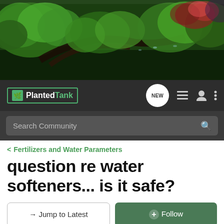[Figure (photo): Aquarium planted tank hero banner image showing lush green aquatic plants, driftwood, and red plants in an underwater aquascape.]
Planted Tank — navigation bar with logo, NEW button, menu icons, and search bar
< Fertilizers and Water Parameters
question re water softeners... is it safe?
→ Jump to Latest
+ Follow
1 - 4 of 4 Posts